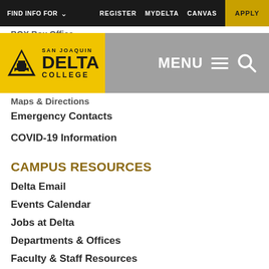FIND INFO FOR  REGISTER  MYDELTA  CANVAS  APPLY
[Figure (logo): San Joaquin Delta College logo with yellow background, triangle/locomotive icon, and MENU navigation]
BOX Box Office
Maps & Directions
Emergency Contacts
COVID-19 Information
CAMPUS RESOURCES
Delta Email
Events Calendar
Jobs at Delta
Departments & Offices
Faculty & Staff Resources
Register to Vote